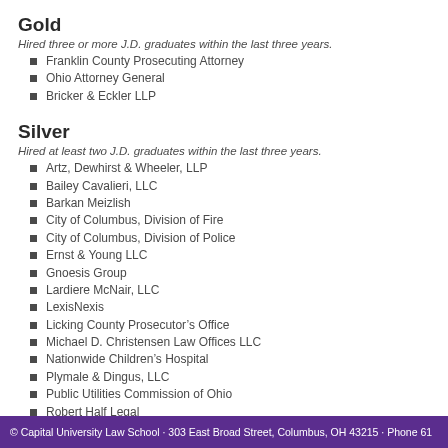Gold
Hired three or more J.D. graduates within the last three years.
Franklin County Prosecuting Attorney
Ohio Attorney General
Bricker & Eckler LLP
Silver
Hired at least two J.D. graduates within the last three years.
Artz, Dewhirst & Wheeler, LLP
Bailey Cavalieri, LLC
Barkan Meizlish
City of Columbus, Division of Fire
City of Columbus, Division of Police
Ernst & Young LLC
Gnoesis Group
Lardiere McNair, LLC
LexisNexis
Licking County Prosecutor's Office
Michael D. Christensen Law Offices LLC
Nationwide Children's Hospital
Plymale & Dingus, LLC
Public Utilities Commission of Ohio
Robert Half Legal
Stebelton Snider, LPA
The Law Office of Anthony W. Greco, L.P.A.
Title First Agency
© Capital University Law School · 303 East Broad Street, Columbus, OH 43215 · Phone 61